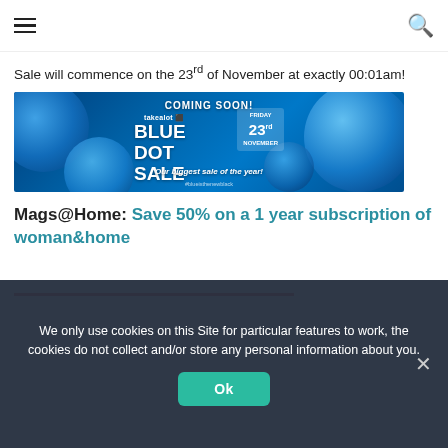[hamburger menu] [search icon]
Sale will commence on the 23rd of November at exactly 00:01am!
[Figure (illustration): Takealot Blue Dot Sale promotional banner. Dark blue background with glowing blue bubbles/orbs. Text reads: COMING SOON! takealot BLUE DOT SALE Our biggest sale of the year! #blueisthenewblack. Friday 23rd November date badge on right.]
Mags@Home: Save 50% on a 1 year subscription of woman&home
We only use cookies on this Site for particular features to work, the cookies do not collect and/or store any personal information about you.